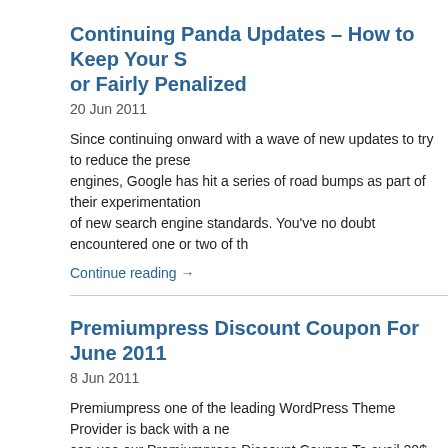Continuing Panda Updates – How to Keep Your S or Fairly Penalized
20 Jun 2011
Since continuing onward with a wave of new updates to try to reduce the prese engines, Google has hit a series of road bumps as part of their experimentation of new search engine standards. You've no doubt encountered one or two of th
Continue reading →
Premiumpress Discount Coupon For June 2011
8 Jun 2011
Premiumpress one of the leading WordPress Theme Provider is back with a ne can use our Premiumpress Discount Coupon To avail 20$ discount on all of Pre Premiumpress discount Coupon to get discount on single theme or the Club Me [...]
Continue reading →
Free And Premium WordPress Link Cloaking Plug
21 Mar 2011